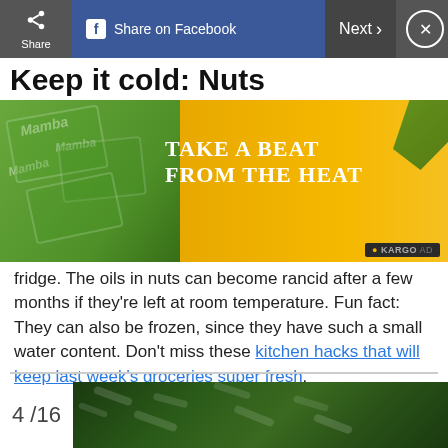Share on Facebook | Next
Keep it cold: Nuts
[Figure (advertisement): Ad banner for Mamba candy: green and yellow background with text 'Take a Beat From the Heat' and Kargo Ad tag]
fridge. The oils in nuts can become rancid after a few months if they're left at room temperature. Fun fact: They can also be frozen, since they have such a small water content. Don't miss these kitchen hacks that will keep last week's groceries super fresh.
4 / 16
[Figure (photo): Photo of watermelons at bottom of page]